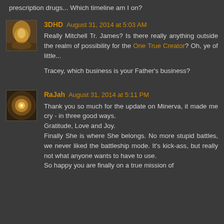prescription drugs... Which timeline am I on?
3DHD August 31, 2014 at 5:03 AM
Really Mitchell Tr. James? Is there really anything outside the realm of possibility for the One True Creator? Oh, ye of little...

Tracey, which business is your Father's business?
RaJah August 31, 2014 at 5:11 PM
Thank you so much for the update on Minerva, it made me cry - in three good ways.
Gratitude, Love and Joy.
Finally She is where She belongs. No more stupid battles, we never liked the battleship mode. It's kick-ass, but really not what anyone wants to have to use.
So happy you are finally on a true mission of